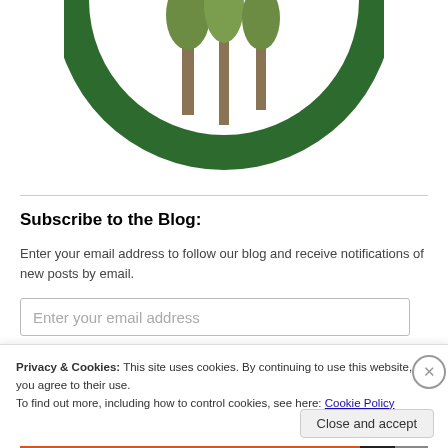[Figure (logo): Partial circular logo with green border and trees, text reading 'cting Michigan's Natural Heritage Since']
Subscribe to the Blog:
Enter your email address to follow our blog and receive notifications of new posts by email.
Enter your email address (input placeholder)
Privacy & Cookies: This site uses cookies. By continuing to use this website, you agree to their use. To find out more, including how to control cookies, see here: Cookie Policy